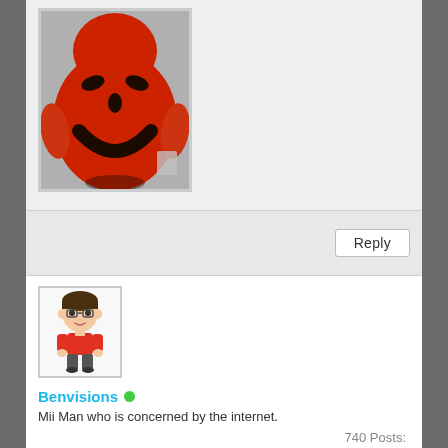[Figure (photo): Person painted entirely red with a Kool-Aid Man face (black painted eyebrows, nose, and smiling mouth) on their torso/body, holding a cup, standing in a doorway.]
Reply
[Figure (illustration): Nintendo Mii avatar character with glasses, brown hair, wearing a red top and grey pants.]
Benvisions ● (online)
Mii Man who is concerned by the internet.
740 Posts: